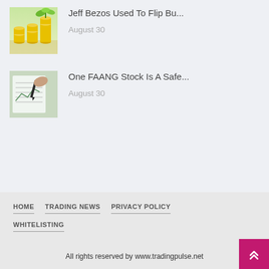[Figure (photo): Photo of stacked gold coins with a green plant growing on top, suggesting investment growth]
Jeff Bezos Used To Flip Bu...
August 30
[Figure (photo): Photo of a hand holding a pen over financial charts/graphs documents]
One FAANG Stock Is A Safe...
August 30
HOME   TRADING NEWS   PRIVACY POLICY   WHITELISTING
All rights reserved by www.tradingpulse.net